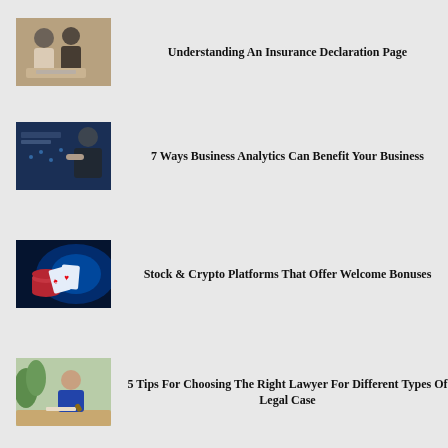[Figure (photo): Two men in business attire reviewing a document together]
Understanding An Insurance Declaration Page
[Figure (photo): Business person touching a digital analytics interface screen]
7 Ways Business Analytics Can Benefit Your Business
[Figure (photo): Playing cards and casino chips with blue glowing crypto/stock background]
Stock & Crypto Platforms That Offer Welcome Bonuses
[Figure (photo): Young businessman in suit sitting at desk with gavel]
5 Tips For Choosing The Right Lawyer For Different Types Of Legal Case